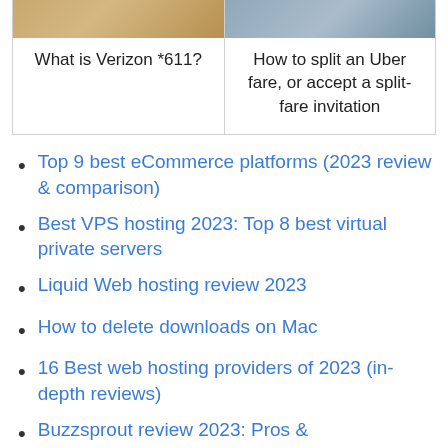[Figure (photo): Two-column card layout at the top: left card shows a photo of a person at a laptop with a yellow background and text 'What is Verizon *611?'; right card shows a photo of hands holding a phone with text 'How to split an Uber fare, or accept a split-fare invitation']
Top 9 best eCommerce platforms (2023 review & comparison)
Best VPS hosting 2023: Top 8 best virtual private servers
Liquid Web hosting review 2023
How to delete downloads on Mac
16 Best web hosting providers of 2023 (in-depth reviews)
Buzzsprout review 2023: Pros &